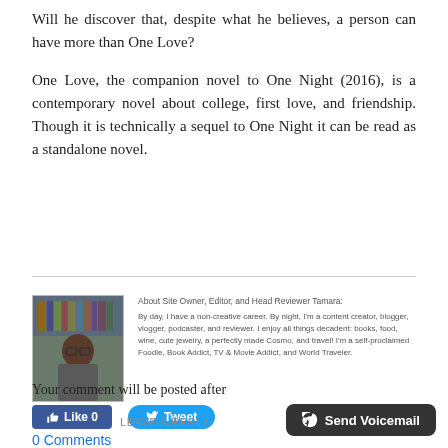Will he discover that, despite what he believes, a person can have more than One Love?
One Love, the companion novel to One Night (2016), is a contemporary novel about college, first love, and friendship. Though it is technically a sequel to One Night it can be read as a standalone novel.
[Figure (photo): Author photo: a woman with glasses in front of a bookshelf]
About Site Owner, Editor, and Head Reviewer Tamara:
By day, I have a non-creative career. By night, I'm a content creator, blogger, vlogger, podcaster, and reviewer. I enjoy all things decadent: books, food, wine, cute jewelry, a perfectly made Cosmo, and travel! I'm a self-proclaimed Foodie, Book Addict, TV & Movie Addict, and World Traveler.
Like 0   Tweet
0 Comments
Your comment will be posted after
LEAVE A REPLY.
Send Voicemail